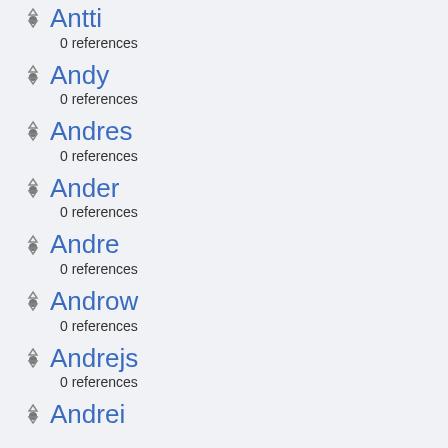Antti
0 references
Andy
0 references
Andres
0 references
Ander
0 references
Andre
0 references
Androw
0 references
Andrejs
0 references
Andrei